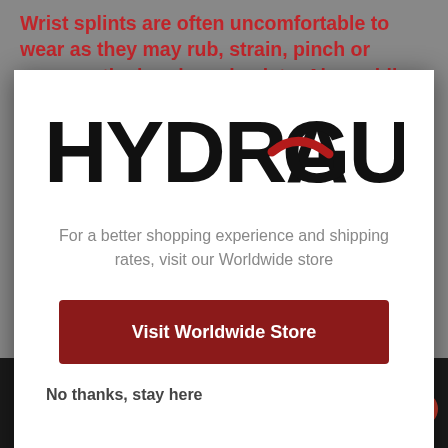Wrist splints are often uncomfortable to wear as they may rub, strain, pinch or squeeze the hands and wrists. Also, while wrist splints may offer
[Figure (logo): HYDRAGUN logo in bold black uppercase letters with a red swoosh/underline accent beneath the letter G]
For a better shopping experience and shipping rates, visit our Worldwide store
Visit Worldwide Store
No thanks, stay here